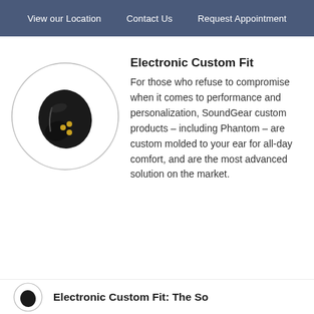View our Location   Contact Us   Request Appointment
[Figure (photo): Black in-ear electronic custom fit hearing device (SoundGear Phantom) shown inside a circular frame/border on a white background.]
Electronic Custom Fit
For those who refuse to compromise when it comes to performance and personalization, SoundGear custom products – including Phantom – are custom molded to your ear for all-day comfort, and are the most advanced solution on the market.
[Figure (photo): Partial bottom teaser showing circular framed image of another product and partial text 'Electronic Custom Fit: The So...']